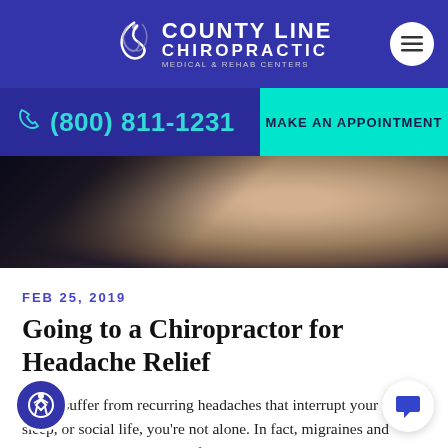[Figure (logo): County Line Chiropractic Medical & Rehab Centers logo with leaf/arrow icon on dark blue header bar]
(800) 811-1231
MAKE AN APPOINTMENT
[Figure (photo): Woman touching back of neck, partial view, dark background]
FEB 25, 2019
Going to a Chiropractor for Headache Relief
If you suffer from recurring headaches that interrupt your work, sleep, or social life, you’re not alone. In fact, migraines and tension headaches are two of the most common diseases in the